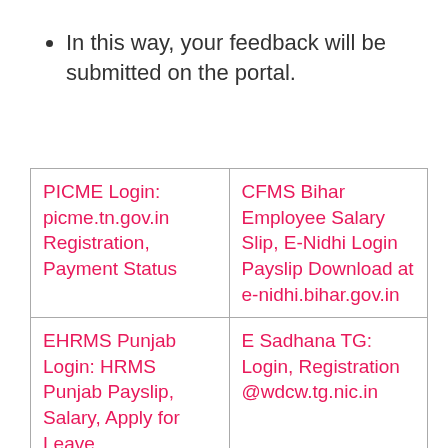In this way, your feedback will be submitted on the portal.
| PICME Login: picme.tn.gov.in Registration, Payment Status | CFMS Bihar Employee Salary Slip, E-Nidhi Login Payslip Download at e-nidhi.bihar.gov.in |
| EHRMS Punjab Login: HRMS Punjab Payslip, Salary, Apply for Leave hrms.punjab.gov.in | E Sadhana TG: Login, Registration @wdcw.tg.nic.in |